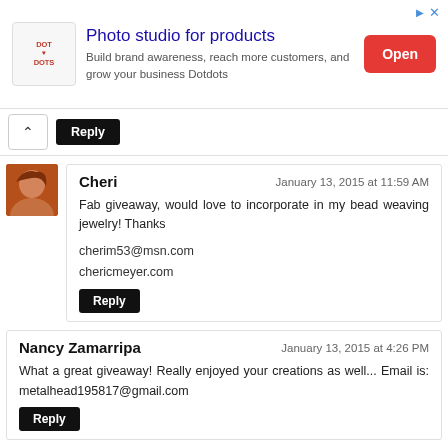[Figure (other): Advertisement banner for 'Photo studio for products' by Dotdots with red Open button]
Reply
Cheri
January 13, 2015 at 11:59 AM
Fab giveaway, would love to incorporate in my bead weaving jewelry! Thanks
cherim53@msn.com
chericmeyer.com
Reply
Nancy Zamarripa
January 13, 2015 at 4:26 PM
What a great giveaway! Really enjoyed your creations as well... Email is: metalhead195817@gmail.com
Reply